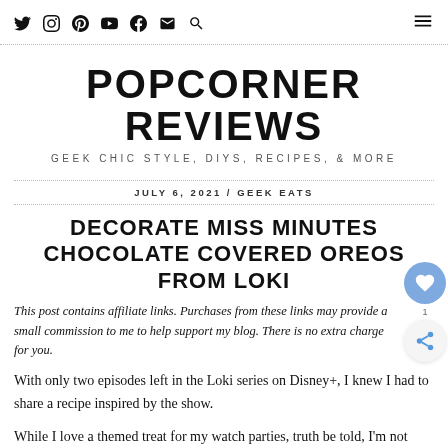Social icons: Twitter, Instagram, Pinterest, YouTube, Facebook, Email, Search | Hamburger menu
POPCORNER REVIEWS
GEEK CHIC STYLE, DIYS, RECIPES, & MORE
JULY 6, 2021 / GEEK EATS
DECORATE MISS MINUTES CHOCOLATE COVERED OREOS FROM LOKI
This post contains affiliate links. Purchases from these links may provide a small commission to me to help support my blog. There is no extra charge for you.
With only two episodes left in the Loki series on Disney+, I knew I had to share a recipe inspired by the show.
While I love a themed treat for my watch parties, truth be told, I'm not